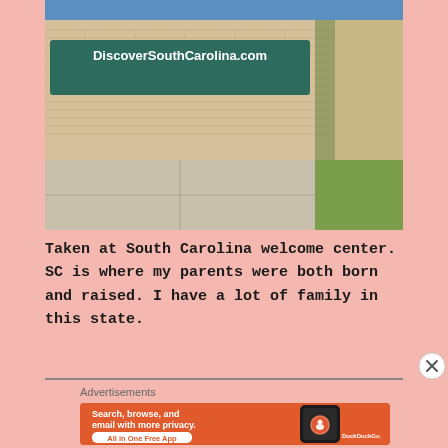[Figure (photo): Photo taken at South Carolina welcome center showing a brick wall with a green sign reading 'DiscoverSouthCarolina.com', a concrete sidewalk, and grass in the background.]
Taken at South Carolina welcome center. SC is where my parents were both born and raised. I have a lot of family in this state.
[Figure (infographic): DuckDuckGo advertisement banner with orange background. Text: 'Search, browse, and email with more privacy. All in One Free App'. Shows a smartphone with DuckDuckGo logo.]